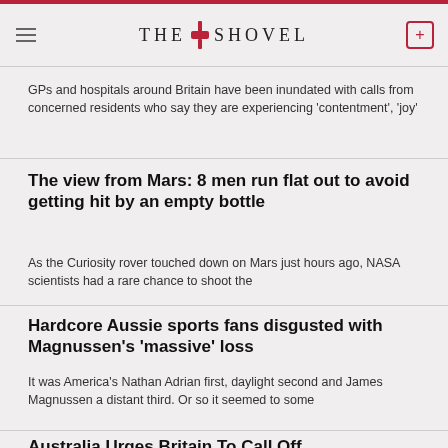THE SHOVEL
GPs and hospitals around Britain have been inundated with calls from concerned residents who say they are experiencing 'contentment', 'joy'
The view from Mars: 8 men run flat out to avoid getting hit by an empty bottle
As the Curiosity rover touched down on Mars just hours ago, NASA scientists had a rare chance to shoot the
Hardcore Aussie sports fans disgusted with Magnussen's 'massive' loss
It was America's Nathan Adrian first, daylight second and James Magnussen a distant third. Or so it seemed to some
Australia Urges Britain To Call Off